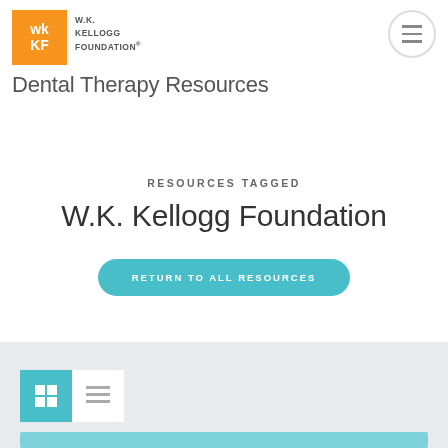[Figure (logo): W.K. Kellogg Foundation logo with orange square containing wk/KF text and foundation name beside it]
Dental Therapy Resources
RESOURCES TAGGED
W.K. Kellogg Foundation
RETURN TO ALL RESOURCES
[Figure (screenshot): View toggle controls: grid view (active, teal) and list view (white) buttons, followed by a teal content card below]